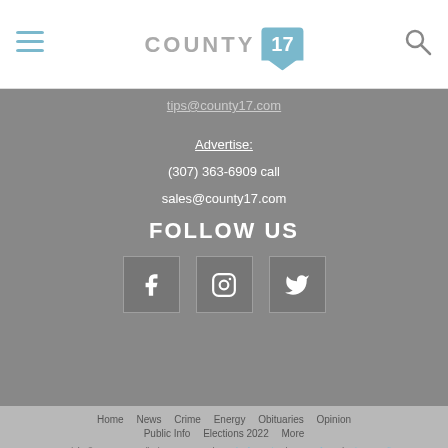COUNTY 17
tips@county17.com
Advertise:
(307) 363-6909 call
sales@county17.com
FOLLOW US
[Figure (illustration): Social media icons: Facebook, Instagram, Twitter]
Home | News | Crime | Energy | Obituaries | Opinion | Public Info | Elections 2022 | More
Copyright © 2017-2022 Oil City News, LLC | Legal Information | Terms of Use | Privacy Policy